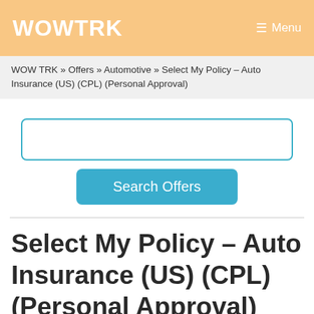WOWTRK  ≡ Menu
WOW TRK » Offers » Automotive » Select My Policy – Auto Insurance (US) (CPL) (Personal Approval)
[Figure (other): Search input field (empty text box with teal border)]
[Figure (other): Search Offers button (teal/blue rounded rectangle button)]
Select My Policy – Auto Insurance (US) (CPL) (Personal Approval)